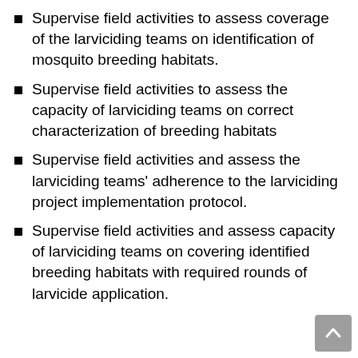Supervise field activities to assess coverage of the larviciding teams on identification of mosquito breeding habitats.
Supervise field activities to assess the capacity of larviciding teams on correct characterization of breeding habitats
Supervise field activities and assess the larviciding teams' adherence to the larviciding project implementation protocol.
Supervise field activities and assess capacity of larviciding teams on covering identified breeding habitats with required rounds of larvicide application.